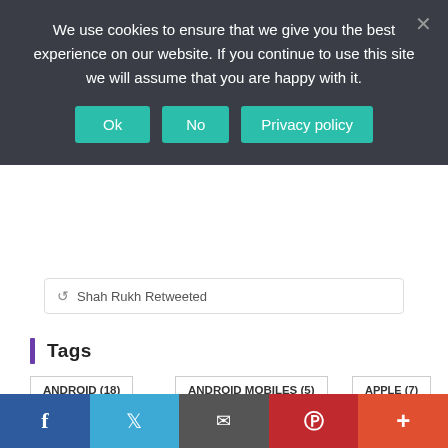We use cookies to ensure that we give you the best experience on our website. If you continue to use this site we will assume that you are happy with it.
Ok | No | Privacy policy
Shah Rukh Retweeted
Tags
ANDROID (18)
ANDROID MOBILES (5)
APPLE (7)
APPLE IPHONE (4)
CMS & FRAMEWORK (4)
COMPUTERS (5)
COVID-19 (5)
DEVELOPERS (6)
DEVELOPMENT (25)
DEV TECH (18)
DEV TECH NEWS (8)
DRUPAL (4)
EARPHONES (4)
HTC (7)
HTML (5)
IPAD (4)
IPHONE (18)
IT TECH (20)
IT TECH DEVELOPER (5)
f | Twitter | Email | Pinterest | +